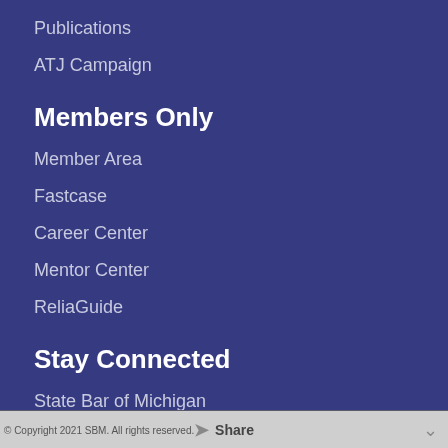Publications
ATJ Campaign
Members Only
Member Area
Fastcase
Career Center
Mentor Center
ReliaGuide
Stay Connected
State Bar of Michigan
306 Townsend St
Lansing, MI 48933-2012
(517) 346-6300
(800) 968-1442
© Copyright 2021 SBM. All rights reserved.